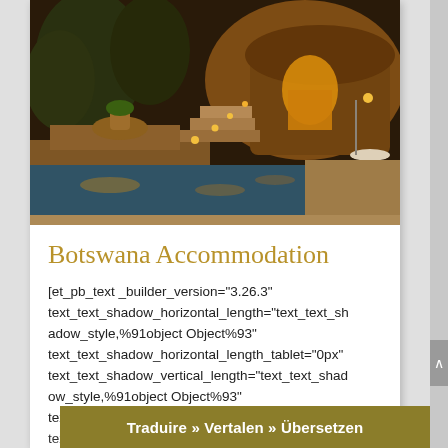[Figure (photo): Luxury safari lodge exterior at dusk with illuminated swimming pool, stone steps, warm glowing lights, thatched buildings, and palm trees in background]
Botswana Accommodation
[et_pb_text _builder_version="3.26.3" text_text_shadow_horizontal_length="text_text_shadow_style,%91object Object%93" text_text_shadow_horizontal_length_tablet="0px" text_text_shadow_vertical_length="text_text_shadow_style,%91object Object%93" text_text_shadow_vertical_length_tablet="0px" text_text_shadow_blur_strength="text_text_shado
Traduire » Vertalen » Übersetzen